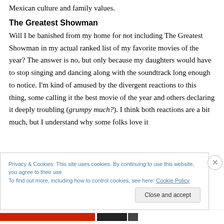Mexican culture and family values.
The Greatest Showman
Will I be banished from my home for not including The Greatest Showman in my actual ranked list of my favorite movies of the year? The answer is no, but only because my daughters would have to stop singing and dancing along with the soundtrack long enough to notice. I'm kind of amused by the divergent reactions to this thing, some calling it the best movie of the year and others declaring it deeply troubling (grumpy much?). I think both reactions are a bit much, but I understand why some folks love it
Privacy & Cookies: This site uses cookies. By continuing to use this website, you agree to their use.
To find out more, including how to control cookies, see here: Cookie Policy
Close and accept